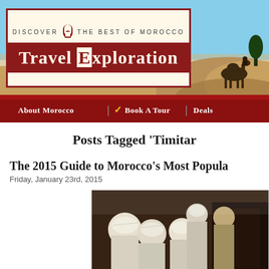[Figure (screenshot): Travel Exploration website header banner with desert and blue sky background, showing 'DISCOVER THE BEST OF MOROCCO Travel Exploration' logo in a cream and dark red box]
DISCOVER THE BEST OF MOROCCO | Travel Exploration
About Morocco | ✓ Book A Tour | Deals
Posts Tagged 'Timitar
The 2015 Guide to Morocco's Most Popula
Friday, January 23rd, 2015
[Figure (photo): Group of people wearing white traditional Moroccan turbans and robes, gathered indoors]